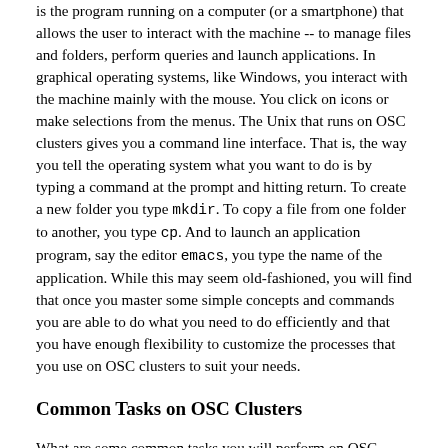is the program running on a computer (or a smartphone) that allows the user to interact with the machine -- to manage files and folders, perform queries and launch applications. In graphical operating systems, like Windows, you interact with the machine mainly with the mouse. You click on icons or make selections from the menus. The Unix that runs on OSC clusters gives you a command line interface. That is, the way you tell the operating system what you want to do is by typing a command at the prompt and hitting return. To create a new folder you type mkdir. To copy a file from one folder to another, you type cp. And to launch an application program, say the editor emacs, you type the name of the application. While this may seem old-fashioned, you will find that once you master some simple concepts and commands you are able to do what you need to do efficiently and that you have enough flexibility to customize the processes that you use on OSC clusters to suit your needs.
Common Tasks on OSC Clusters
What are some common tasks you will perform on OSC clusters? Probably the most common scenario is that you want to run some of the software we have installed on our clusters. You may have your own input files that will be processed by an application program. The application may generate output files which you need to organize. You will probably have to create a